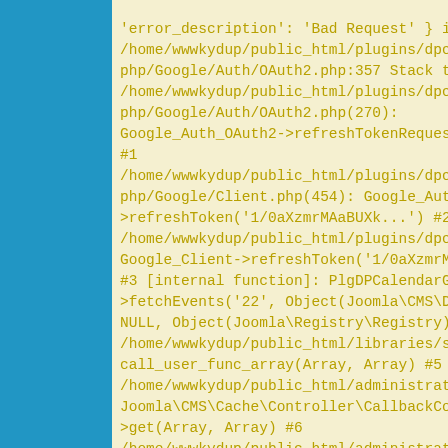'error_description': 'Bad Request' } in /home/wwwkydup/public_html/plugins/dpcalendar/google/libraries/google/Google/Auth/OAuth2.php:357 Stack trace: #0 /home/wwwkydup/public_html/plugins/dpcalendar/google/libraries/google/Google/Auth/OAuth2.php(270): Google_Auth_OAuth2->refreshTokenRequest(Array) #1 /home/wwwkydup/public_html/plugins/dpcalendar/google/libraries/google/Google/Client.php(454): Google_Auth_OAuth2->refreshToken('1/0aXzmrMAaBUXk...') #2 /home/wwwkydup/public_html/plugins/dpcalendar/google/google.php Google_Client->refreshToken('1/0aXzmrMAaBUXk...') #3 [internal function]: PlgDPCalendarGoogle->fetchEvents('22', Object(Joomla\CMS\Date\Date), NULL, Object(Joomla\Registry\Registry)) #4 /home/wwwkydup/public_html/libraries/src/Cache/Controller/Callback call_user_func_array(Array, Array) #5 /home/wwwkydup/public_html/administrator/components/com_dpcal Joomla\CMS\Cache\Controller\CallbackController->get(Array, Array) #6 /home/wwwkydup/public_html/administrator/components/com_dpcal DPCalendar\Plugin\DPCalendarPlugin->onEventsFetch('g-22', Object(Joomla\CMS\Date\Date), NULL, Object(Joomla\Registry\Registry)) #7